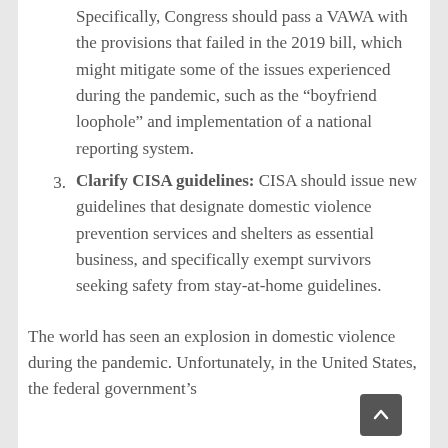Specifically, Congress should pass a VAWA with the provisions that failed in the 2019 bill, which might mitigate some of the issues experienced during the pandemic, such as the “boyfriend loophole” and implementation of a national reporting system.
3. Clarify CISA guidelines: CISA should issue new guidelines that designate domestic violence prevention services and shelters as essential business, and specifically exempt survivors seeking safety from stay-at-home guidelines.
The world has seen an explosion in domestic violence during the pandemic. Unfortunately, in the United States, the federal government’s